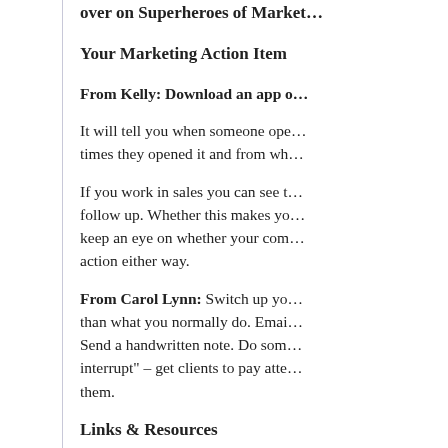over on Superheroes of Market…
Your Marketing Action Item
From Kelly: Download an app o…
It will tell you when someone ope… times they opened it and from wh…
If you work in sales you can see t… follow up. Whether this makes yo… keep an eye on whether your com… action either way.
From Carol Lynn: Switch up yo… than what you normally do. Emai… Send a handwritten note. Do som… interrupt" – get clients to pay atte… them.
Links & Resources